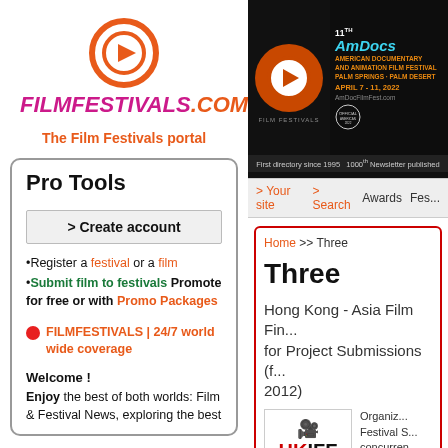[Figure (logo): FilmFestivals.com logo with orange play button circle and purple/orange text]
The Film Festivals portal
Pro Tools
> Create account
Register a festival or a film
Submit film to festivals Promote for free or with Promo Packages
FILMFESTIVALS | 24/7 world wide coverage
Welcome !
Enjoy the best of both worlds: Film & Festival News, exploring the best
[Figure (screenshot): AmDocs 11th American Documentary and Animation Film Festival banner, April 7-11 2022, Palm Springs Palm Desert]
> Your site  > Search   Awards  Fes...
Home >> Three
Three
Hong Kong - Asia Film Fin... for Project Submissions (f... 2012)
Organizer: Festival S... concurren... and TV M... Film Fin...